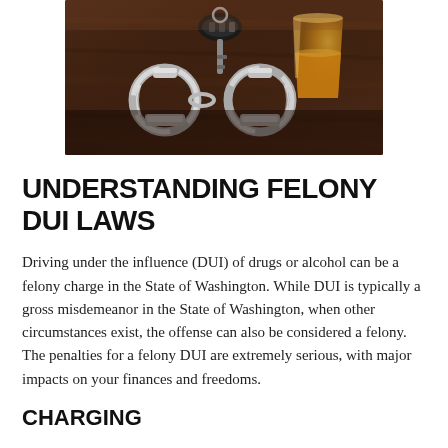[Figure (photo): Photo of handcuffs, a car key, and a glass of whiskey on a dark wooden table surface]
UNDERSTANDING FELONY DUI LAWS
Driving under the influence (DUI) of drugs or alcohol can be a felony charge in the State of Washington. While DUI is typically a gross misdemeanor in the State of Washington, when other circumstances exist, the offense can also be considered a felony. The penalties for a felony DUI are extremely serious, with major impacts on your finances and freedoms.
CHARGING